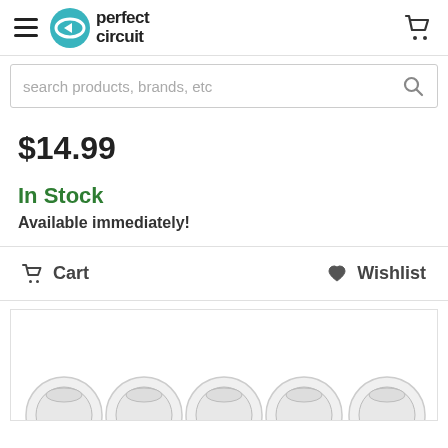Perfect Circuit
search products, brands, etc
$14.99
In Stock
Available immediately!
Cart  Wishlist
[Figure (photo): Row of white rotary knobs/dials partially visible at the bottom of the page]